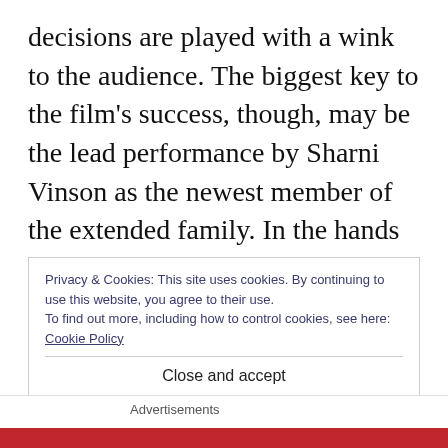decisions are played with a wink to the audience. The biggest key to the film's success, though, may be the lead performance by Sharni Vinson as the newest member of the extended family. In the hands of another actress, I can see this role going over the top. Vinson manages to ground it enough where it's easy to accept that she grew up in a survivalist group in Australia. In a year that's contained a surprising amount of s b a
Privacy & Cookies: This site uses cookies. By continuing to use this website, you agree to their use.
To find out more, including how to control cookies, see here: Cookie Policy
Close and accept
Advertisements